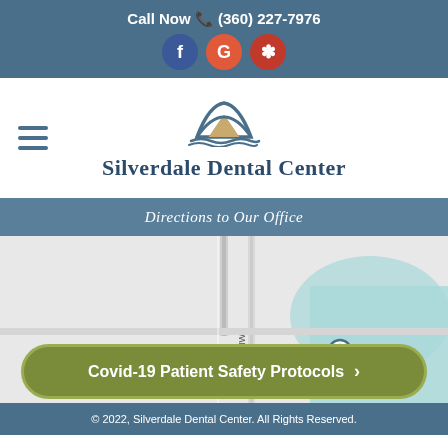Call Now (360) 227-7976
[Figure (logo): Silverdale Dental Center logo with mountain/wave icon and text]
Directions to Our Office
[Figure (map): Google Maps view showing location pin in Silverdale area with Provost Rd NW visible]
Covid-19 Patient Safety Protocols
© 2022, Silverdale Dental Center. All Rights Reserved.